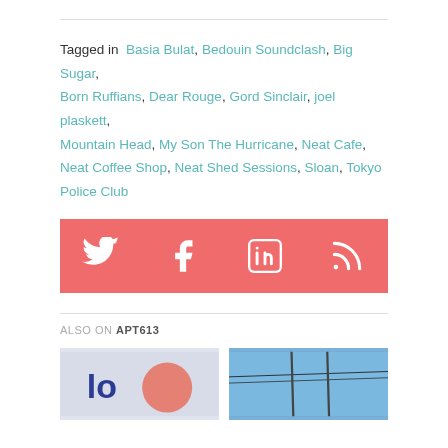Tagged in  Basia Bulat, Bedouin Soundclash, Big Sugar, Born Ruffians, Dear Rouge, Gord Sinclair, joel plaskett, Mountain Head, My Son The Hurricane, Neat Cafe, Neat Coffee Shop, Neat Shed Sessions, Sloan, Tokyo Police Club
[Figure (infographic): Social media share bar with Twitter, Facebook, LinkedIn, and RSS icons on a coral/salmon background]
ALSO ON APT613
[Figure (photo): Two thumbnail images side by side below the ALSO ON APT613 heading]